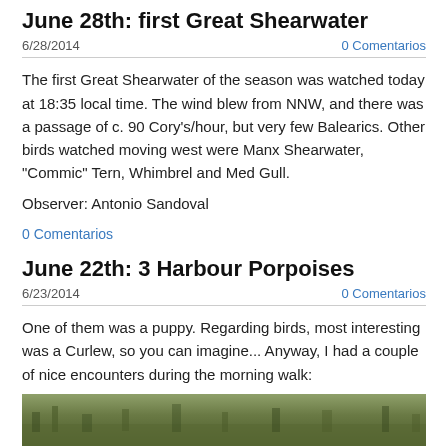June 28th: first Great Shearwater
6/28/2014	0 Comentarios
The first Great Shearwater of the season was watched today at 18:35 local time. The wind blew from NNW, and there was a passage of c. 90 Cory's/hour, but very few Balearics. Other birds watched moving west were Manx Shearwater, "Commic" Tern, Whimbrel and Med Gull.
Observer: Antonio Sandoval
0 Comentarios
June 22th: 3 Harbour Porpoises
6/23/2014	0 Comentarios
One of them was a puppy. Regarding birds, most interesting was a Curlew, so you can imagine... Anyway, I had a couple of nice encounters during the morning walk:
[Figure (photo): A photograph of vegetation/nature scene, green grassy/bushy landscape]